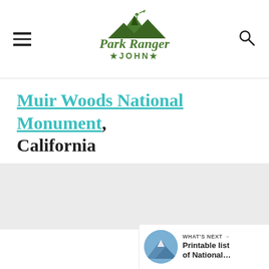Park Ranger John
Muir Woods National Monument, California
[Figure (photo): Gray/empty image placeholder area for Muir Woods National Monument photo]
11
WHAT'S NEXT → Printable list of National…